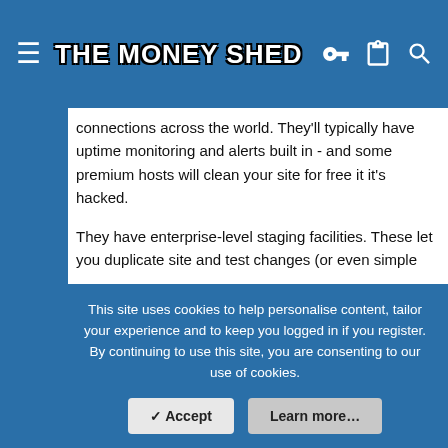THE MONEY SHED
connections across the world. They'll typically have uptime monitoring and alerts built in - and some premium hosts will clean your site for free it it's hacked.
They have enterprise-level staging facilities. These let you duplicate site and test changes (or even simple updates) before pushing the staging site live.
Some shared hosting providers offer some aspects of these. You can bolt on some features, such as using Pingdom for uptime monitoring. But the all-in-one service can pay for itself.
It's not for most blogs, but once you get to a particular scale it's worth it.
This site uses cookies to help personalise content, tailor your experience and to keep you logged in if you register.
By continuing to use this site, you are consenting to our use of cookies.